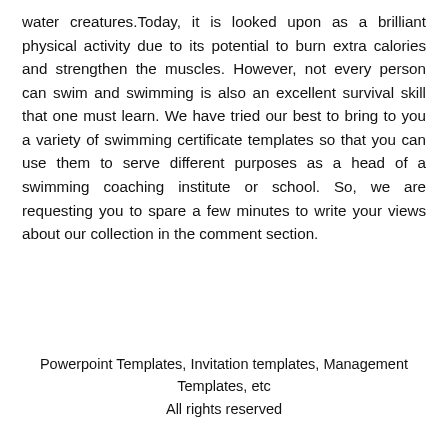water creatures.Today, it is looked upon as a brilliant physical activity due to its potential to burn extra calories and strengthen the muscles. However, not every person can swim and swimming is also an excellent survival skill that one must learn. We have tried our best to bring to you a variety of swimming certificate templates so that you can use them to serve different purposes as a head of a swimming coaching institute or school. So, we are requesting you to spare a few minutes to write your views about our collection in the comment section.
Powerpoint Templates, Invitation templates, Management Templates, etc
All rights reserved